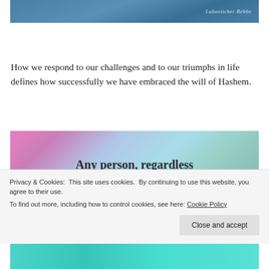[Figure (photo): Blue/sky background banner with italic text 'Lubavitcher Rebbe' in light color at right side]
How we respond to our challenges and to our triumphs in life defines how successfully we have embraced the will of Hashem.
[Figure (photo): Colorful pink, blue, and teal textured background with bold serif text reading 'Any person, regardless of the circumstances, can decide what shall...' (text cut off at bottom)]
Privacy & Cookies: This site uses cookies. By continuing to use this website, you agree to their use.
To find out more, including how to control cookies, see here: Cookie Policy
[Figure (photo): Teal/turquoise textured background strip at bottom of page]